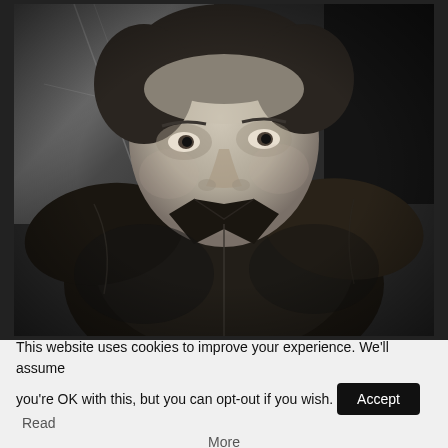[Figure (photo): Black and white portrait photograph of a middle-aged man wearing a leather jacket, looking directly at the camera with a serious expression. The background shows a marble or stone wall texture.]
This website uses cookies to improve your experience. We'll assume you're OK with this, but you can opt-out if you wish. Accept Read More